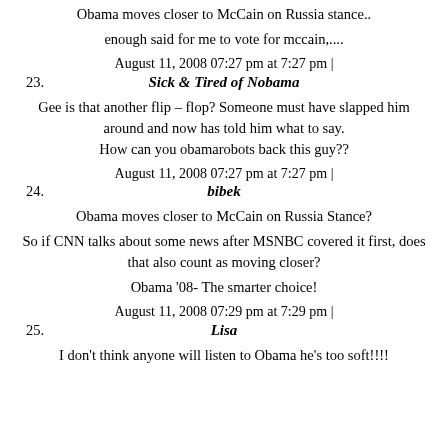Obama moves closer to McCain on Russia stance..
enough said for me to vote for mccain,....
August 11, 2008 07:27 pm at 7:27 pm |
23. Sick & Tired of Nobama
Gee is that another flip – flop? Someone must have slapped him around and now has told him what to say. How can you obamarobots back this guy??
August 11, 2008 07:27 pm at 7:27 pm |
24. bibek
Obama moves closer to McCain on Russia Stance?
So if CNN talks about some news after MSNBC covered it first, does that also count as moving closer?
Obama '08- The smarter choice!
August 11, 2008 07:29 pm at 7:29 pm |
25. Lisa
I don't think anyone will listen to Obama he's too soft!!!!